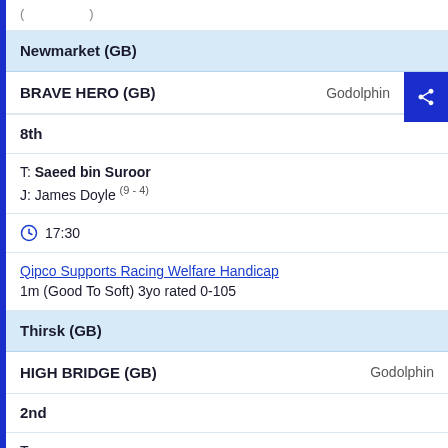(truncated top)
Newmarket (GB)
BRAVE HERO (GB)   Godolphin
8th
T: Saeed bin Suroor
J: James Doyle (9 - 4)
17:30
Qipco Supports Racing Welfare Handicap
1m (Good To Soft) 3yo rated 0-105
Thirsk (GB)
HIGH BRIDGE (GB)   Godolphin
2nd
T: (truncated)